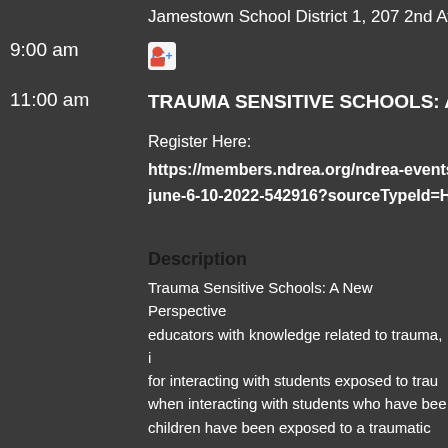Jamestown School District 1, 207 2nd Ave SE,
9:00 am
11:00 am
TRAUMA SENSITIVE SCHOOLS: A New Per[spective]
Register Here:
https://members.ndrea.org/ndrea-events/De[…]-june-6-10-2022-542916?sourceTypeId=Hub[…]
Description
Trauma Sensitive Schools: A New Perspective [provides] educators with knowledge related to trauma, [strategies] for interacting with students exposed to trau[ma,] when interacting with students who have bee[n] [exposed,] children have been exposed to a traumatic eve[nt,] being and functioning of students and their fa[milies,] students and adopting a trauma-informed app[roach,] mitigating both the short- and long- term effe[cts,] leave you with a renewed commitment to reac[hing] their families. Participants will attend all 5 virt[ual] study after each session. Graduate credit is ava[ilable.]